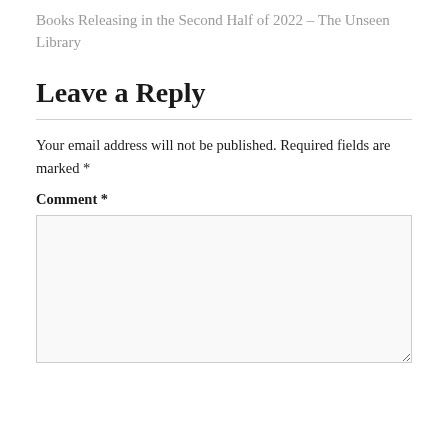Books Releasing in the Second Half of 2022 – The Unseen Library
Leave a Reply
Your email address will not be published. Required fields are marked *
Comment *